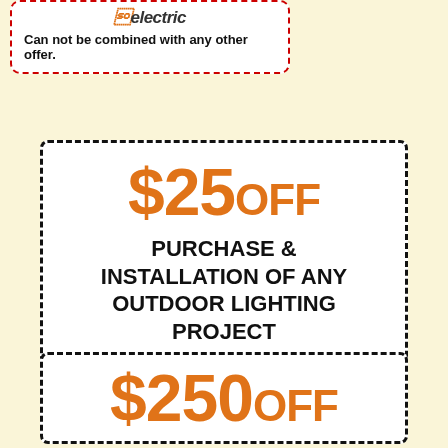[Figure (logo): Partial electric company logo visible at top]
Can not be combined with any other offer.
$25 OFF PURCHASE & INSTALLATION OF ANY OUTDOOR LIGHTING PROJECT
Limited time offer. Cannot be combined with other offers.
$250 OFF